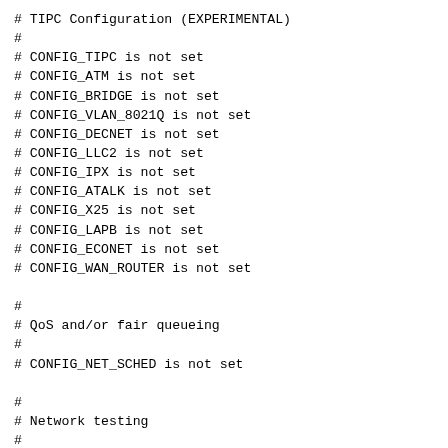# TIPC Configuration (EXPERIMENTAL)
#
# CONFIG_TIPC is not set
# CONFIG_ATM is not set
# CONFIG_BRIDGE is not set
# CONFIG_VLAN_8021Q is not set
# CONFIG_DECNET is not set
# CONFIG_LLC2 is not set
# CONFIG_IPX is not set
# CONFIG_ATALK is not set
# CONFIG_X25 is not set
# CONFIG_LAPB is not set
# CONFIG_ECONET is not set
# CONFIG_WAN_ROUTER is not set

#
# QoS and/or fair queueing
#
# CONFIG_NET_SCHED is not set

#
# Network testing
#
# CONFIG_NET_PKTGEN is not set
# CONFIG_NET_TCPPROBE is not set
# CONFIG_HAMRADIO is not set
# CONFIG_IRDA is not set
# CONFIG_BT is not set
CONFIG_IEEE80211=m
# CONFIG_IEEE80211_DEBUG is not set